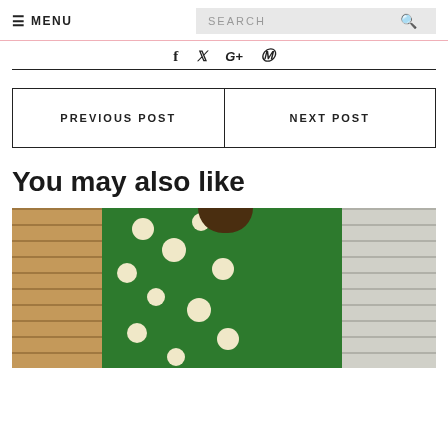≡ MENU  SEARCH 🔍
f  𝕏  G+  ⊕
PREVIOUS POST  |  NEXT POST
You may also like
[Figure (photo): Woman wearing a green floral dress standing against a brick wall background]